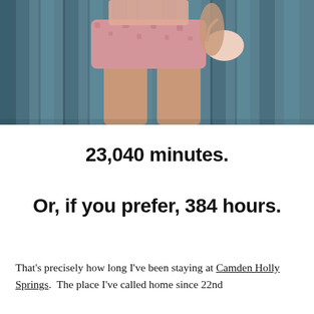[Figure (photo): Photo of a person from the waist down wearing pink/rose patterned shorts and holding a light pink bag, standing in front of teal/blue vertical slats or fence]
23,040 minutes.
Or, if you prefer, 384 hours.
That's precisely how long I've been staying at Camden Holly Springs.  The place I've called home since 22nd